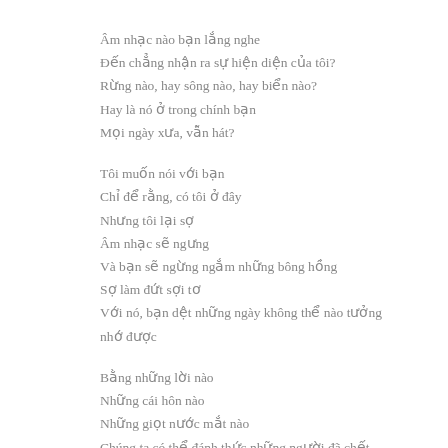Âm nhạc nào bạn lắng nghe
Đến chẳng nhận ra sự hiện diện của tôi?
Rừng nào, hay sông nào, hay biển nào?
Hay là nó ở trong chính bạn
Mọi ngày xưa, vẫn hát?
Tôi muốn nói với bạn
Chỉ để rằng, có tôi ở đây
Nhưng tôi lại sợ
Âm nhạc sẽ ngưng
Và bạn sẽ ngừng ngắm những bông hồng
Sợ làm đứt sợi tơ
Với nó, bạn dệt những ngày không thể nào tưởng nhớ được
Bằng những lời nào
Những cái hôn nào
Những giọt nước mắt nào
Chúng ta có thể đánh thức những người đã chết